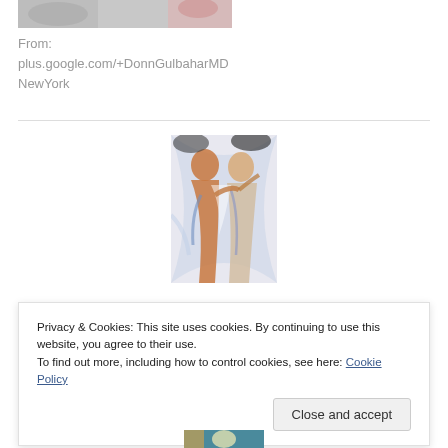[Figure (photo): Cropped photo at top, partially visible, showing muted tones]
From:
plus.google.com/+DonnGulbaharMD
NewYork
[Figure (illustration): Colorful stylized illustration of human figures in orange, blue and white tones]
Privacy & Cookies: This site uses cookies. By continuing to use this website, you agree to their use.
To find out more, including how to control cookies, see here: Cookie Policy
[Figure (photo): Partially visible photo at bottom of page]